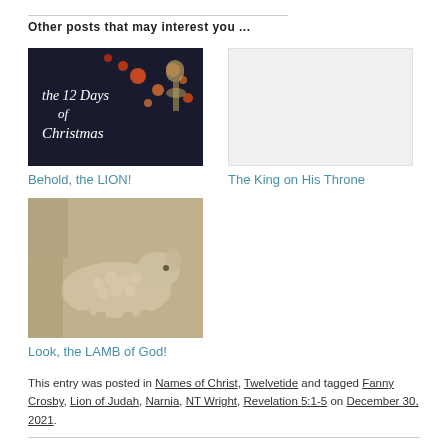Other posts that may interest you ...
[Figure (photo): Photo for 'Behold, the LION!' showing The 12 Days of Christmas card with bokeh lights and bells on dark background]
[Figure (photo): Placeholder/blank white image for 'The King on His Throne']
Behold, the LION!
The King on His Throne
[Figure (photo): Stone carving or relief sculpture of a lamb lying down]
Look, the LAMB of God!
This entry was posted in Names of Christ, Twelvetide and tagged Fanny Crosby, Lion of Judah, Narnia, NT Wright, Revelation 5:1-5 on December 30, 2021.